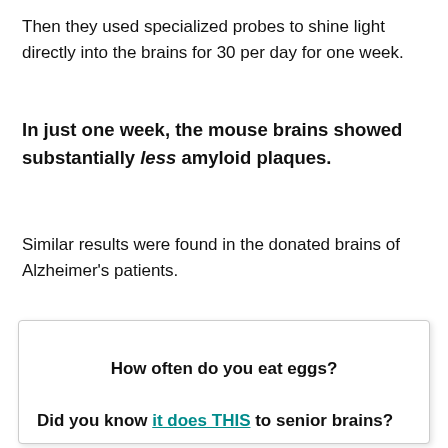Then they used specialized probes to shine light directly into the brains for 30 per day for one week.
In just one week, the mouse brains showed substantially less amyloid plaques.
Similar results were found in the donated brains of Alzheimer's patients.
How often do you eat eggs?
Did you know it does THIS to senior brains?
-Emily